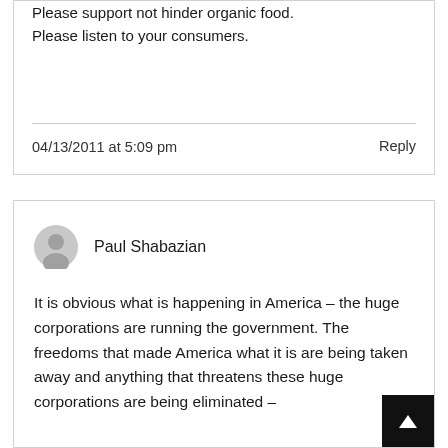Please support not hinder organic food.
Please listen to your consumers.
04/13/2011 at 5:09 pm
Reply
Paul Shabazian
It is obvious what is happening in America – the huge corporations are running the government. The freedoms that made America what it is are being taken away and anything that threatens these huge corporations are being eliminated –